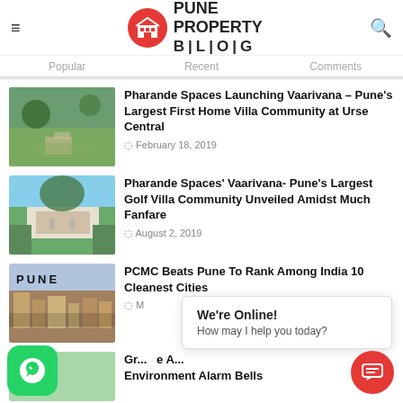Pune Property Blog
Popular | Recent | Comments
Pharande Spaces Launching Vaarivana – Pune's Largest First Home Villa Community at Urse Central
February 18, 2019
Pharande Spaces' Vaarivana- Pune's Largest Golf Villa Community Unveiled Amidst Much Fanfare
August 2, 2019
PCMC Beats Pune To Rank Among India 10 Cleanest Cities
March 22, 2019
Gr... e A... Environment Alarm Bells